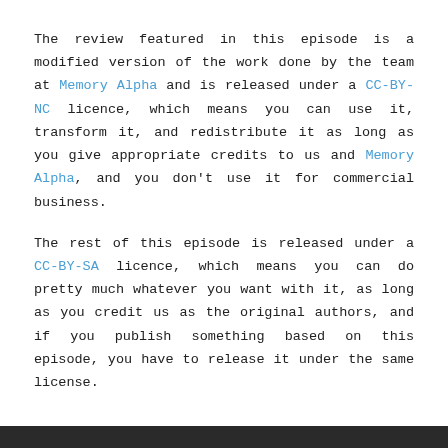The review featured in this episode is a modified version of the work done by the team at Memory Alpha and is released under a CC-BY-NC licence, which means you can use it, transform it, and redistribute it as long as you give appropriate credits to us and Memory Alpha, and you don't use it for commercial business.
The rest of this episode is released under a CC-BY-SA licence, which means you can do pretty much whatever you want with it, as long as you credit us as the original authors, and if you publish something based on this episode, you have to release it under the same license.